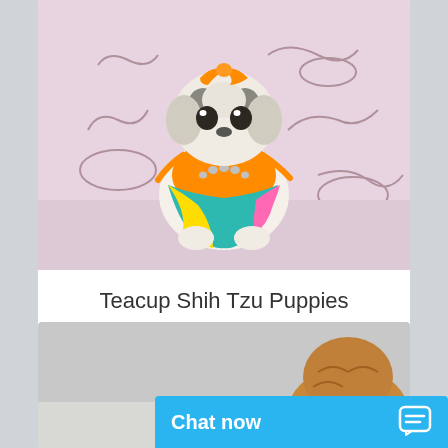[Figure (photo): A small Shih Tzu puppy dressed in colorful orange, teal, yellow and pink outfit with an orange bow on its head and a rhinestone necklace, posed against a pink background with decorative line drawings.]
Teacup Shih Tzu Puppies
[Figure (photo): Partial view of another small puppy, brown/golden colored, against a gray/white background, cropped at bottom of page.]
Chat now